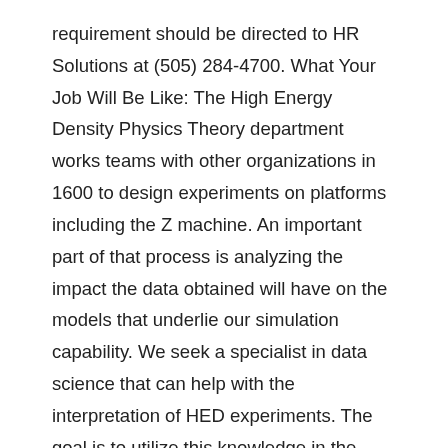requirement should be directed to HR Solutions at (505) 284-4700. What Your Job Will Be Like: The High Energy Density Physics Theory department works teams with other organizations in 1600 to design experiments on platforms including the Z machine. An important part of that process is analyzing the impact the data obtained will have on the models that underlie our simulation capability. We seek a specialist in data science that can help with the interpretation of HED experiments. The goal is to utilize this knowledge in the design stage in order to design the most insightful experiments given the data needs and to identify the most important avenues for investment in capabilities to enhance the experimental platforms, such as improved diagnostics or control. As an example of this, pulsed